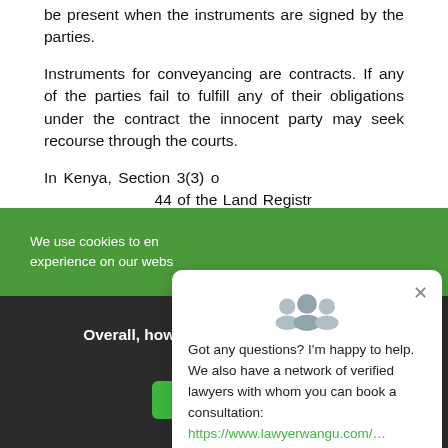be present when the instruments are signed by the parties.
Instruments for conveyancing are contracts. If any of the parties fail to fulfill any of their obligations under the contract the innocent party may seek recourse through the courts.
In Kenya, Section 3(3) of... 44 of the Land Regist... Land Act together defi... a contract for dispo... cannot sue unless:
We use cookies to en... experience on our webs...
Overall, how satisfied are you with the website?
Reply
[Figure (screenshot): Chat popup with users icon, close button, message about verified lawyers, and link to lawyerwangu.com consultation booking]